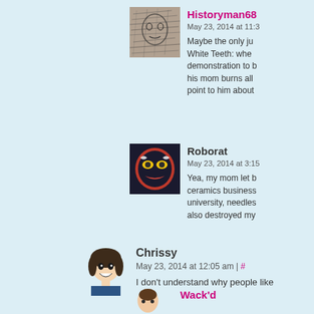[Figure (photo): Avatar image for Historyman68 - pencil sketch artwork]
Historyman68
May 23, 2014 at 11:3
Maybe the only ju White Teeth: whe demonstration to l his mom burns all point to him about
[Figure (photo): Avatar image for Roborat - cartoon robot/villain character]
Roborat
May 23, 2014 at 3:15
Yea, my mom let b ceramics business university, needles also destroyed my
[Figure (photo): Avatar image for Chrissy - anime-style character]
Chrissy
May 23, 2014 at 12:05 am | #
I don't understand why people like
[Figure (photo): Avatar image for Wack'd - partially visible]
Wack'd